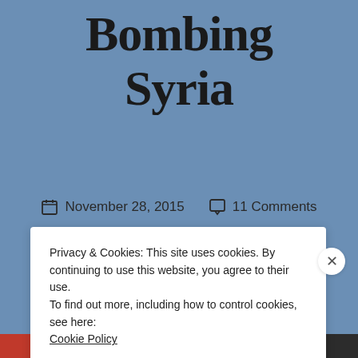Guide to Bombing Syria
November 28, 2015   11 Comments
Privacy & Cookies: This site uses cookies. By continuing to use this website, you agree to their use.
To find out more, including how to control cookies, see here:
Cookie Policy
CLOSE AND ACCEPT